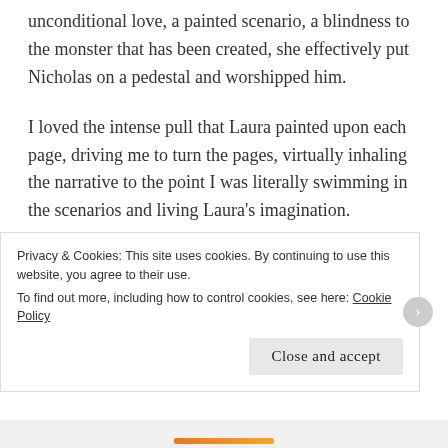unconditional love, a painted scenario, a blindness to the monster that has been created, she effectively put Nicholas on a pedestal and worshipped him.
I loved the intense pull that Laura painted upon each page, driving me to turn the pages, virtually inhaling the narrative to the point I was literally swimming in the scenarios and living Laura's imagination.
Thanks go to Bookouture, Laura Elliot and Kim Nash for an advanced readers copy of The Wife Before Me, to read in exchange for an honest and unbiased
Privacy & Cookies: This site uses cookies. By continuing to use this website, you agree to their use.
To find out more, including how to control cookies, see here: Cookie Policy
Close and accept